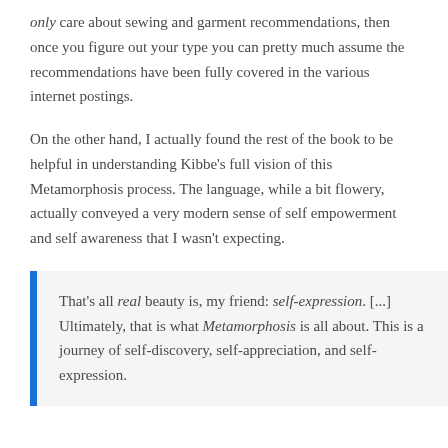only care about sewing and garment recommendations, then once you figure out your type you can pretty much assume the recommendations have been fully covered in the various internet postings.
On the other hand, I actually found the rest of the book to be helpful in understanding Kibbe's full vision of this Metamorphosis process. The language, while a bit flowery, actually conveyed a very modern sense of self empowerment and self awareness that I wasn't expecting.
That's all real beauty is, my friend: self-expression. [...] Ultimately, that is what Metamorphosis is all about. This is a journey of self-discovery, self-appreciation, and self-expression.